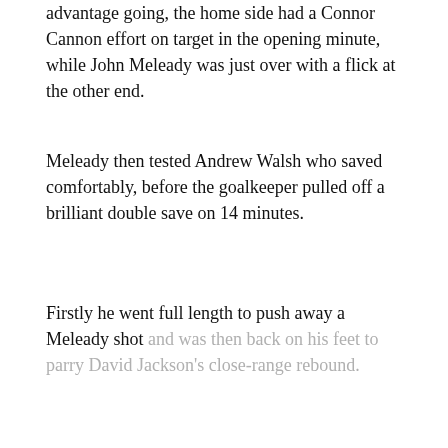advantage going, the home side had a Connor Cannon effort on target in the opening minute, while John Meleady was just over with a flick at the other end.
Meleady then tested Andrew Walsh who saved comfortably, before the goalkeeper pulled off a brilliant double save on 14 minutes.
Firstly he went full length to push away a Meleady shot and was then back on his feet to parry David Jackson's close-range rebound.
CONTINUE READING
LOCAL ADS